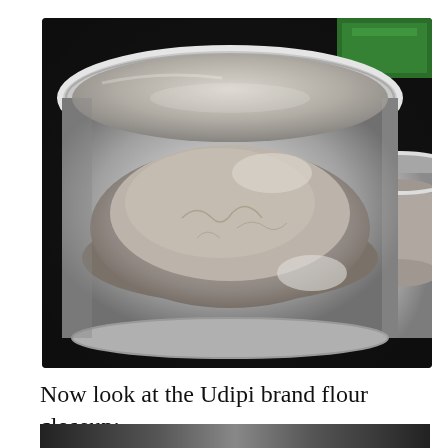[Figure (photo): Close-up photograph of a stainless steel pot/bowl containing brownish-grey flour (Udipi brand), with another similar pot partially visible on the right side, and a green package in the background top right corner. Dark background.]
Now look at the Udipi brand flour closeup:
[Figure (photo): Bottom portion of another close-up photograph, partially visible — dark toned image.]